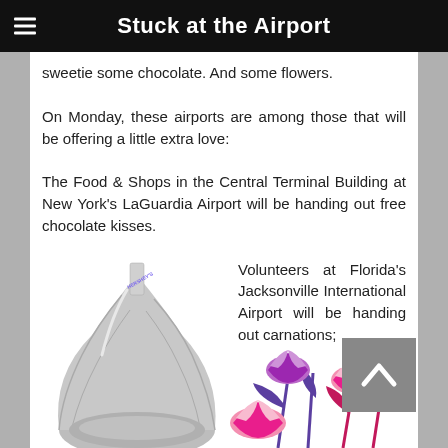Stuck at the Airport
sweetie some chocolate. And some flowers.
On Monday, these airports are among those that will be offering a little extra love:
The Food & Shops in the Central Terminal Building at New York's LaGuardia Airport will be handing out free chocolate kisses.
[Figure (photo): A Hershey's chocolate kiss wrapped in silver foil]
Volunteers at Florida's Jacksonville International Airport will be handing out carnations;
[Figure (illustration): Illustrated pink and purple carnation flowers]